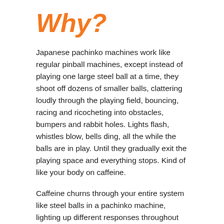Why?
Japanese pachinko machines work like regular pinball machines, except instead of playing one large steel ball at a time, they shoot off dozens of smaller balls, clattering loudly through the playing field, bouncing, racing and ricocheting into obstacles, bumpers and rabbit holes. Lights flash, whistles blow, bells ding, all the while the balls are in play. Until they gradually exit the playing space and everything stops. Kind of like your body on caffeine.
Caffeine churns through your entire system like steel balls in a pachinko machine, lighting up different responses throughout your body. Part of this has to do with the fact that adenosine doesn't reside only in your brain. (Adenosine is the neurotransmitter responsible for energy, among other things.) Your body is full of adenosine and adenosine receptors. Caffeine has the same ability to block those receptors wherever it finds them, which can lead to some